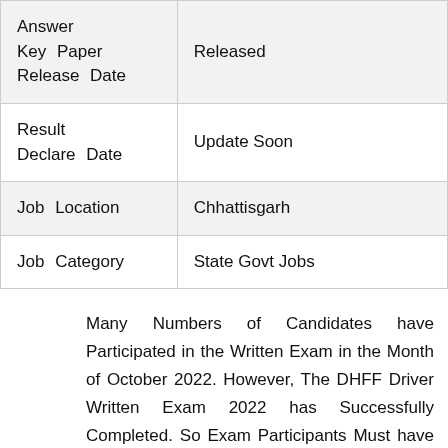| Answer Key Paper Release Date | Released |
| Result Declare Date | Update Soon |
| Job Location | Chhattisgarh |
| Job Category | State Govt Jobs |
Many Numbers of Candidates have Participated in the Written Exam in the Month of October 2022. However, The DHFF Driver Written Exam 2022 has Successfully Completed. So Exam Participants Must have to Refer our Official Web Portal. Because we have to Upload the Direct link for Answer Download DHFF Driver Result